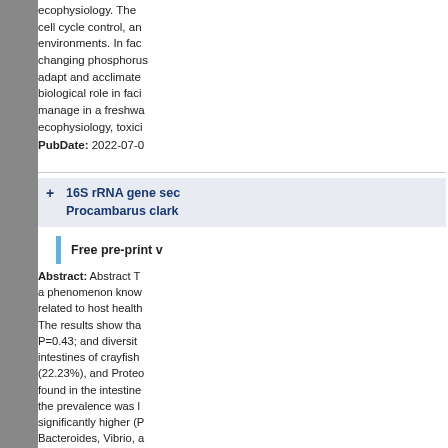ecophysiology. The cell cycle control, and environments. In fact, changing phosphorus adapt and acclimate biological role in faci manage in a freshwa ecophysiology, toxici
PubDate: 2022-07-0
16S rRNA gene sec Procambarus clark
Free pre-print v
Abstract: Abstract T a phenomenon know related to host health The results show tha P=0.43; and diversit intestines of crayfish (22.23%), and Proted found in the intestine the prevalence was l significantly higher (P Bacteroides, Vibrio, a prediction indicated t clarkii with BMD was microbiota of P. clark host especially in aqu
PubDate: 2022-07-0